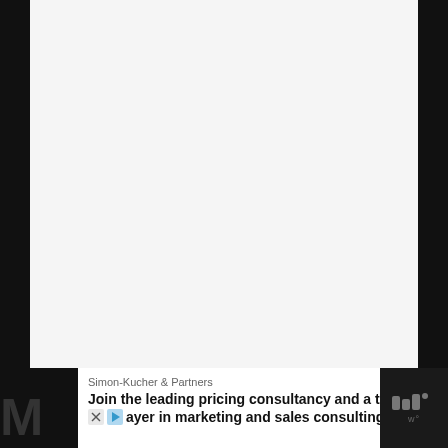[Figure (other): Large white/light gray blank area occupying most of the page, appearing to be a blank document or whitespace region with dark border areas on sides and top]
Simon-Kucher & Partners
Join the leading pricing consultancy and a top player in marketing and sales consulting